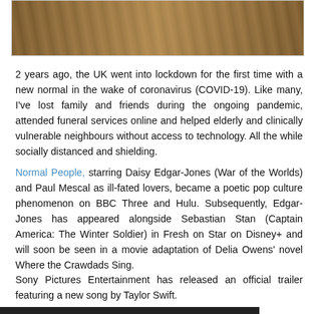[Figure (photo): Partial photo showing what appears to be books or natural objects in warm brown tones, cropped at top of page]
2 years ago, the UK went into lockdown for the first time with a new normal in the wake of coronavirus (COVID-19). Like many, I've lost family and friends during the ongoing pandemic, attended funeral services online and helped elderly and clinically vulnerable neighbours without access to technology. All the while socially distanced and shielding.
Normal People, starring Daisy Edgar-Jones (War of the Worlds) and Paul Mescal as ill-fated lovers, became a poetic pop culture phenomenon on BBC Three and Hulu. Subsequently, Edgar-Jones has appeared alongside Sebastian Stan (Captain America: The Winter Soldier) in Fresh on Star on Disney+ and will soon be seen in a movie adaptation of Delia Owens' novel Where the Crawdads Sing.
Sony Pictures Entertainment has released an official trailer featuring a new song by Taylor Swift.